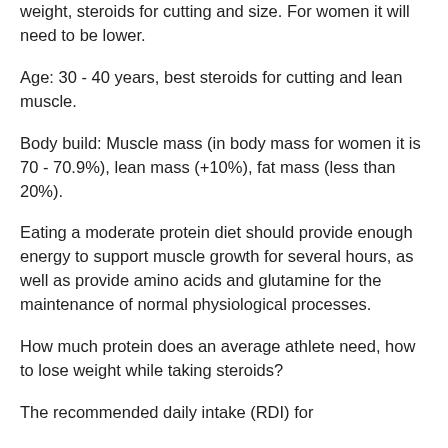weight, steroids for cutting and size. For women it will need to be lower.
Age: 30 - 40 years, best steroids for cutting and lean muscle.
Body build: Muscle mass (in body mass for women it is 70 - 70.9%), lean mass (+10%), fat mass (less than 20%).
Eating a moderate protein diet should provide enough energy to support muscle growth for several hours, as well as provide amino acids and glutamine for the maintenance of normal physiological processes.
How much protein does an average athlete need, how to lose weight while taking steroids?
The recommended daily intake (RDI) for